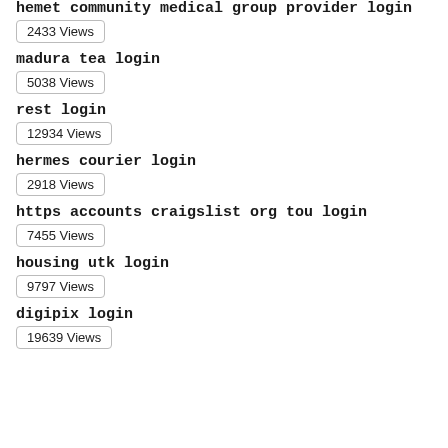hemet community medical group provider login
2433 Views
madura tea login
5038 Views
rest login
12934 Views
hermes courier login
2918 Views
https accounts craigslist org tou login
7455 Views
housing utk login
9797 Views
digipix login
19639 Views